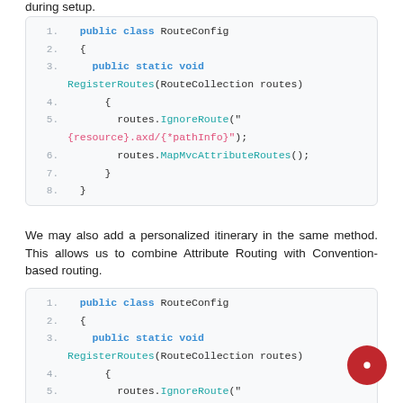during setup.
[Figure (screenshot): Code block showing public class RouteConfig with RegisterRoutes method and IgnoreRoute and MapMvcAttributeRoutes calls, lines 1-8]
We may also add a personalized itinerary in the same method. This allows us to combine Attribute Routing with Convention-based routing.
[Figure (screenshot): Code block showing public class RouteConfig with RegisterRoutes method and IgnoreRoute call, lines 1-5 visible]